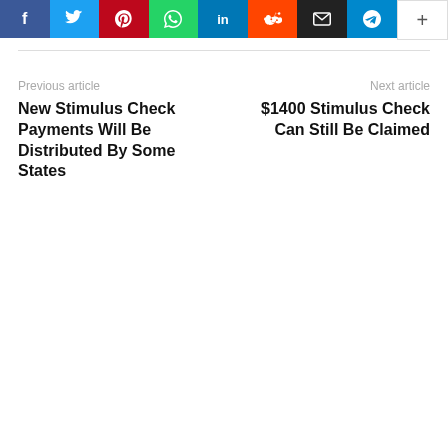[Figure (other): Social media share bar with buttons: Facebook, Twitter, Pinterest, WhatsApp, LinkedIn, Reddit, Email, Telegram, More (+)]
Previous article
New Stimulus Check Payments Will Be Distributed By Some States
Next article
$1400 Stimulus Check Can Still Be Claimed